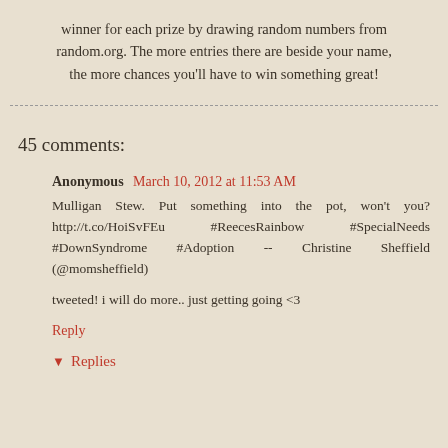winner for each prize by drawing random numbers from random.org. The more entries there are beside your name, the more chances you'll have to win something great!
45 comments:
Anonymous March 10, 2012 at 11:53 AM
Mulligan Stew. Put something into the pot, won't you? http://t.co/HoiSvFEu #ReecesRainbow #SpecialNeeds #DownSyndrome #Adoption -- Christine Sheffield (@momsheffield)
tweeted! i will do more.. just getting going <3
Reply
Replies